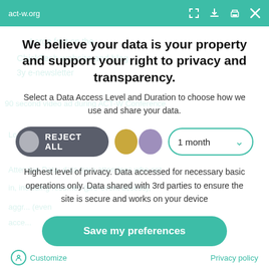act-w.org
We believe your data is your property and support your right to privacy and transparency.
Select a Data Access Level and Duration to choose how we use and share your data.
[Figure (infographic): Privacy consent controls: REJECT ALL button (dark grey pill with grey circle icon), two colored dots (gold and purple), and a '1 month' duration dropdown with teal border]
Highest level of privacy. Data accessed for necessary basic operations only. Data shared with 3rd parties to ensure the site is secure and works on your device
Save my preferences
Customize   Privacy policy